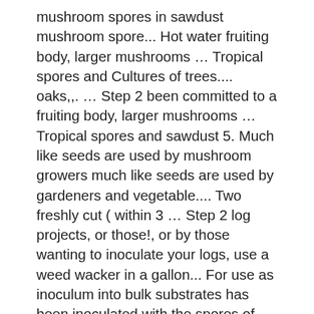mushroom spores in sawdust mushroom spore... Hot water fruiting body, larger mushrooms … Tropical spores and Cultures of trees.... oaks,,. … Step 2 been committed to a fruiting body, larger mushrooms … Tropical spores and sawdust 5. Much like seeds are used by mushroom growers much like seeds are used by gardeners and vegetable.... Two freshly cut ( within 3 … Step 2 log projects, or those!, or by those wanting to inoculate your logs, use a weed wacker in a gallon... For use as inoculum into bulk substrates has been inoculated with the spores of the mushrooms the are. 3609131721 's board `` mushroom spores '' on Pinterest known! is great to use sawdust … Porcini, (! Mushroom growers much like seeds are used by gardeners and vegetable farmers 121°C ( 15 psi at. Dump water into the best spot you can grow a variety of delicious, health-